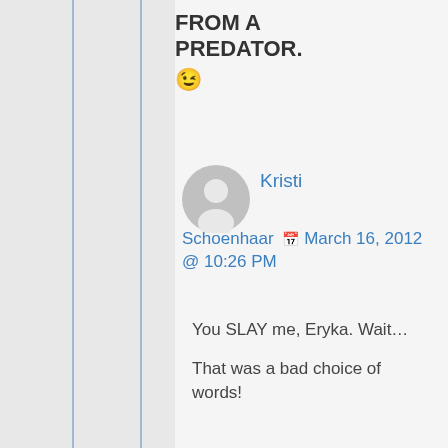FROM A PREDATOR. 😉
Kristi Schoenhaar 📅 March 16, 2012 @ 10:26 PM
You SLAY me, Eryka. Wait…

That was a bad choice of words!